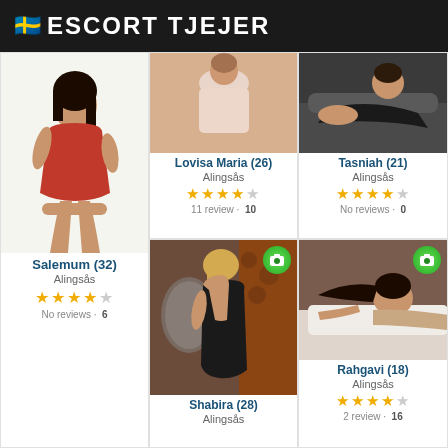🇸🇪 ESCORT TJEJER
[Figure (photo): Profile photo of Salemum, woman in red dress]
Salemum (32)
Alingsås
★★★★☆
No reviews · 6
[Figure (photo): Profile photo of Lovisa Maria]
Lovisa Maria (26)
Alingsås
★★★★☆
11 review · 10
[Figure (photo): Profile photo of Tasniah, woman on sofa]
Tasniah (21)
Alingsås
★★★★☆
No reviews · 0
[Figure (photo): Profile photo of Shabira, woman in black dress with camera icon]
Shabira (28)
Alingsås
[Figure (photo): Profile photo of Rahgavi with camera icon]
Rahgavi (18)
Alingsås
★★★★☆
2 review · 16